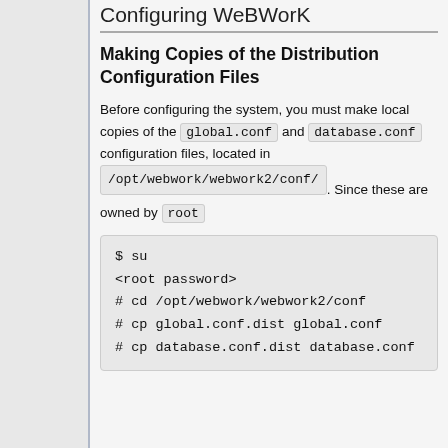Configuring WeBWorK
Making Copies of the Distribution Configuration Files
Before configuring the system, you must make local copies of the global.conf and database.conf configuration files, located in /opt/webwork/webwork2/conf/ . Since these are owned by root
$ su
<root password>
# cd /opt/webwork/webwork2/conf
# cp global.conf.dist global.conf
# cp database.conf.dist database.conf